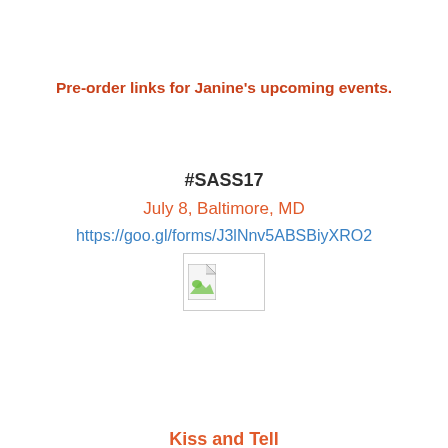Pre-order links for Janine's upcoming events.
#SASS17
July 8, Baltimore, MD
https://goo.gl/forms/J3lNnv5ABSBiyXRO2
[Figure (other): Broken image placeholder icon]
Kiss and Tell
July 29, Allentown PA